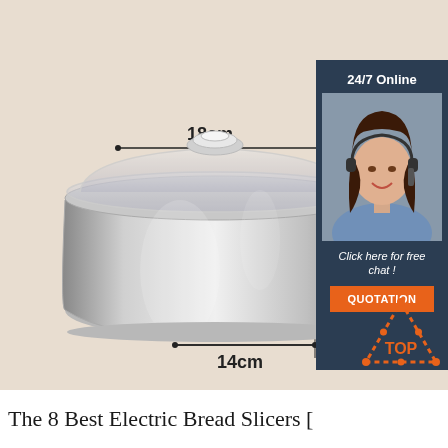[Figure (photo): Product photo of a stainless steel saucepan with glass lid and long handle. Dimension markers show 18cm width at top and 14cm width at bottom. A customer service sidebar on the right shows '24/7 Online', a female agent with headset, 'Click here for free chat!' text, and an orange QUOTATION button. A TOP badge is in the bottom-right corner.]
The 8 Best Electric Bread Slicers [